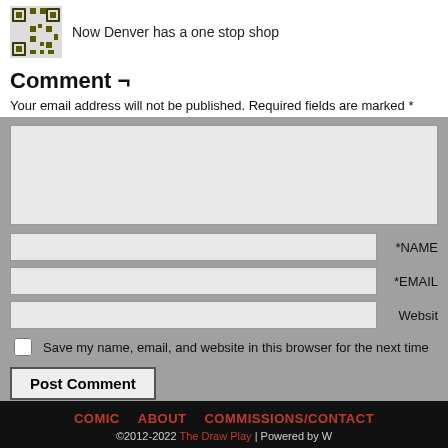[Figure (logo): QR-code style logo image with dark olive/brown pixel pattern]
Now Denver has a one stop shop
Comment ¬
Your email address will not be published. Required fields are marked *
[Figure (screenshot): Comment form with textarea, Name, Email, Website fields, checkbox, and Post Comment button]
This site uses Akismet to reduce spam. Learn how your comment data
COMIC | ABOUT | COMMISSIONS/CONTACT | ©2012-2022 The Draw Play | Powered by W